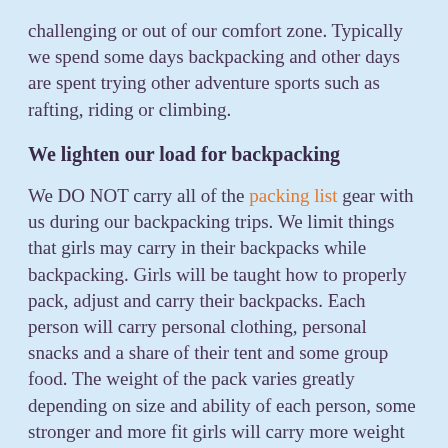challenging or out of our comfort zone. Typically we spend some days backpacking and other days are spent trying other adventure sports such as rafting, riding or climbing.
We lighten our load for backpacking
We DO NOT carry all of the packing list gear with us during our backpacking trips. We limit things that girls may carry in their backpacks while backpacking. Girls will be taught how to properly pack, adjust and carry their backpacks. Each person will carry personal clothing, personal snacks and a share of their tent and some group food. The weight of the pack varies greatly depending on size and ability of each person, some stronger and more fit girls will carry more weight than girls who are smaller or less fit. Backpacks are meant to be worn snug